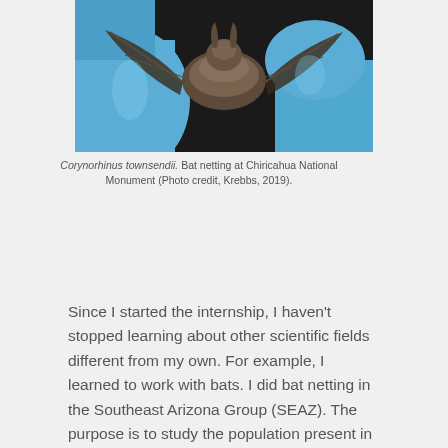[Figure (photo): A person wearing blue latex gloves handling a bat during bat netting fieldwork. The bat's wing membranes and brown fur are visible. The photo is taken at close range.]
Corynorhinus townsendii. Bat netting at Chiricahua National Monument (Photo credit, Krebbs, 2019).
Since I started the internship, I haven't stopped learning about other scientific fields different from my own. For example, I learned to work with bats. I did bat netting in the Southeast Arizona Group (SEAZ). The purpose is to study the population present in the three Parks before the monsoon season and to check if the bats have White Nose Syndrome (WNS). The lead investigator for this work is Karen Krebbs, who is a conservation biologist that has studied bats in these